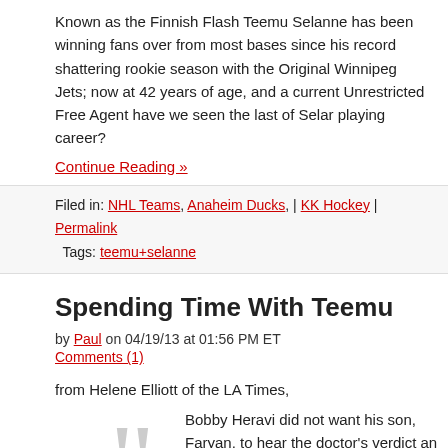Known as the Finnish Flash Teemu Selanne has been winning fans over from most bases since his record shattering rookie season with the Original Winnipeg Jets; now at 42 years of age, and a current Unrestricted Free Agent have we seen the last of Selanne's playing career?
Continue Reading »
Filed in: NHL Teams, Anaheim Ducks, | KK Hockey | Permalink
Tags: teemu+selanne
Spending Time With Teemu
by Paul on 04/19/13 at 01:56 PM ET
Comments (1)
from Helene Elliott of the LA Times,
Bobby Heravi did not want his son, Faryan, to hear the doctor's verdict and so made sure the boy's head was turned away when he asked about his son's chances of surviving an aggressive form of lymphoma.

"With my mouth expression I said, 'What percent?' And the doctor just did this," Heravi said, splaying three fingers. "Because he was diagnosed as Stage 4. Stage 4 means terminal."

The family, which lives in Irvine, was at its lowest ebb last May when